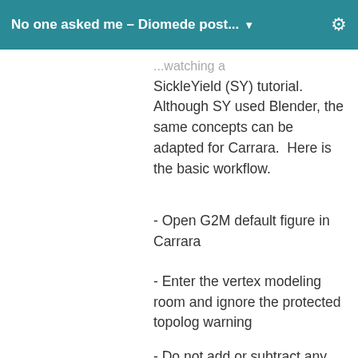No one asked me – Diomede post... ▼
...watching a SickleYield (SY) tutorial. Although SY used Blender, the same concepts can be adapted for Carrara.  Here is the basic workflow.
- Open G2M default figure in Carrara
- Enter the vertex modeling room and ignore the protected topolog warning
- Do not add or subtract any vertexes
- Make sure subdivision is zero